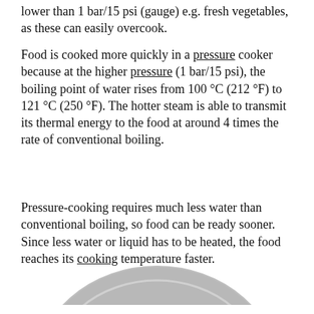lower than 1 bar/15 psi (gauge) e.g. fresh vegetables, as these can easily overcook.
Food is cooked more quickly in a pressure cooker because at the higher pressure (1 bar/15 psi), the boiling point of water rises from 100 °C (212 °F) to 121 °C (250 °F). The hotter steam is able to transmit its thermal energy to the food at around 4 times the rate of conventional boiling.
Pressure-cooking requires much less water than conventional boiling, so food can be ready sooner. Since less water or liquid has to be heated, the food reaches its cooking temperature faster.
[Figure (photo): Partial view of a pressure cooker lid/top, showing a circular metallic object, cropped at the bottom of the page.]